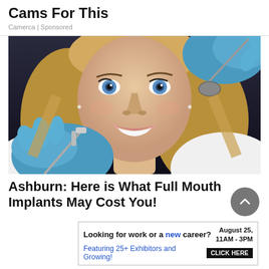Cams For This
Camerca | Sponsored
[Figure (photo): A smiling young woman with blue eyes receiving a dental examination; blue-gloved hands hold dental instruments near her teeth.]
Ashburn: Here is What Full Mouth Implants May Cost You!
Looking for work or a new career? August 25, 11AM - 3PM Featuring 25+ Exhibitors and Growing! CLICK HERE